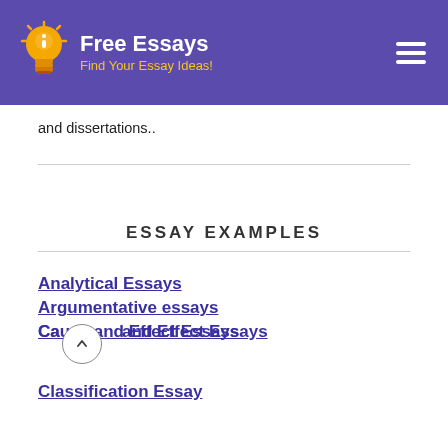Free Essays — Find Your Essay Ideas!
and dissertations..
ESSAY EXAMPLES
Analytical Essays
Argumentative essays
Cause and Effect Essays
Classification Essay